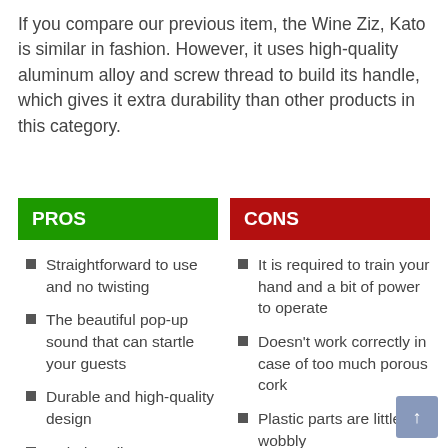If you compare our previous item, the Wine Ziz, Kato is similar in fashion. However, it uses high-quality aluminum alloy and screw thread to build its handle, which gives it extra durability than other products in this category.
PROS
CONS
Straightforward to use and no twisting
The beautiful pop-up sound that can startle your guests
Durable and high-quality design
Includes all
It is required to train your hand and a bit of power to operate
Doesn't work correctly in case of too much porous cork
Plastic parts are little wobbly